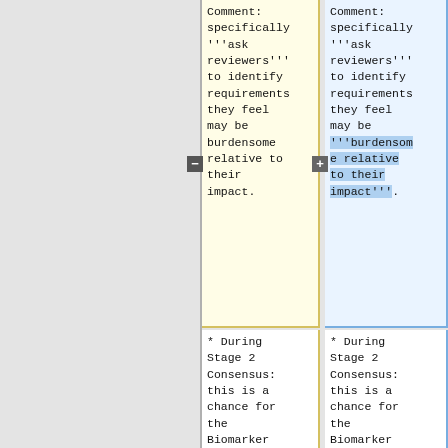Comment: specifically '''ask reviewers''' to identify requirements they feel may be burdensome relative to their impact.
Comment: specifically '''ask reviewers''' to identify requirements they feel may be '''burdensome relative to their impact'''.
* During Stage 2 Consensus: this is a chance for the Biomarker Committee members to
* During Stage 2 Consensus: this is a chance for the Biomarker Committee members to